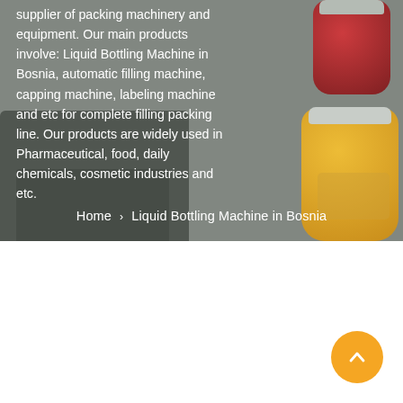[Figure (photo): Hero banner showing packing machinery and equipment with glass jars (red and yellow/honey) on a grey-toned background]
supplier of packing machinery and equipment. Our main products involve: Liquid Bottling Machine in Bosnia, automatic filling machine, capping machine, labeling machine and etc for complete filling packing line. Our products are widely used in Pharmaceutical, food, daily chemicals, cosmetic industries and etc.
Home > Liquid Bottling Machine in Bosnia
[Figure (other): Orange circular scroll-to-top button with upward chevron arrow icon, positioned bottom-right of white section]